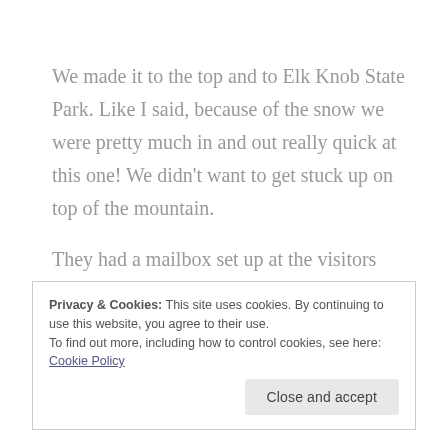We made it to the top and to Elk Knob State Park. Like I said, because of the snow we were pretty much in and out really quick at this one! We didn't want to get stuck up on top of the mountain.
They had a mailbox set up at the visitors center that had stickers in it for the passports, but there were only three left and we needed four so we went inside and the Ranger stamped them for us.
Privacy & Cookies: This site uses cookies. By continuing to use this website, you agree to their use.
To find out more, including how to control cookies, see here: Cookie Policy